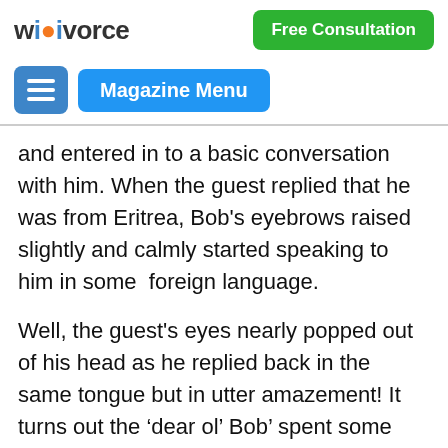wikivorce | Free Consultation | Magazine Menu
and entered in to a basic conversation with him. When the guest replied that he was from Eritrea, Bob's eyebrows raised slightly and calmly started speaking to him in some  foreign language.
Well, the guest's eyes nearly popped out of his head as he replied back in the same tongue but in utter amazement! It turns out the ‘dear ol’ Bob’ spent some time out in that part of Africa, with the Foreign office! I just stood there in